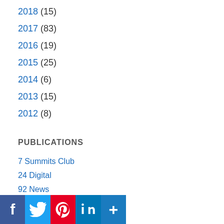2018 (15)
2017 (83)
2016 (19)
2015 (25)
2014 (6)
2013 (15)
2012 (8)
PUBLICATIONS
7 Summits Club
24 Digital
92 News
Abb Takk TV
ABC News
Adventure Indonesia